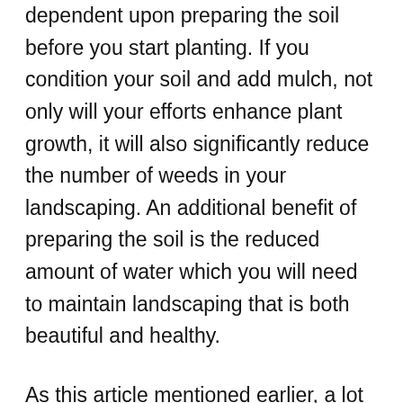The long term success of your landscaping is dependent upon preparing the soil before you start planting. If you condition your soil and add mulch, not only will your efforts enhance plant growth, it will also significantly reduce the number of weeds in your landscaping. An additional benefit of preparing the soil is the reduced amount of water which you will need to maintain landscaping that is both beautiful and healthy.
As this article mentioned earlier, a lot of interest surrounding landscaping has emanated in recent years. Indeed, landscaping has received a lot of buzz, but many people are daunted by what's perceived to be a difficult and challenging hobby. Surprisingly, it's